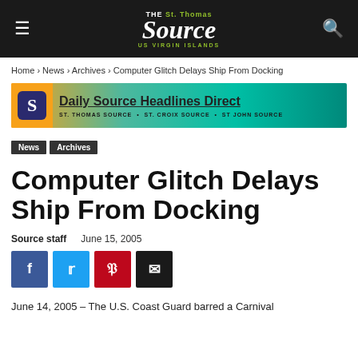THE St. Thomas Source US VIRGIN ISLANDS
Home › News › Archives › Computer Glitch Delays Ship From Docking
[Figure (other): Daily Source Headlines Direct banner ad with S logo. ST. THOMAS SOURCE • ST. CROIX SOURCE • ST JOHN SOURCE]
News
Archives
Computer Glitch Delays Ship From Docking
Source staff   June 15, 2005
June 14, 2005 – The U.S. Coast Guard barred a Carnival